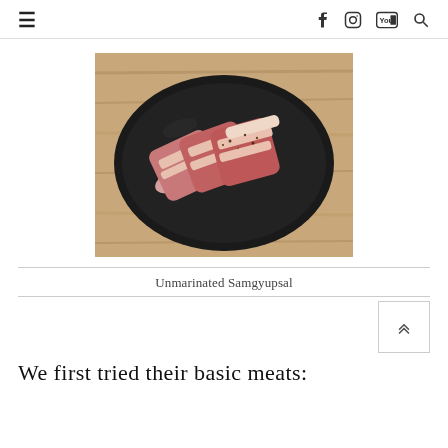≡  f  📷  ▶  🔍
[Figure (photo): Raw sliced pork belly (samgyupsal) on a black plate, seasoned with pepper, on a wooden surface]
Unmarinated Samgyupsal
We first tried their basic meats: